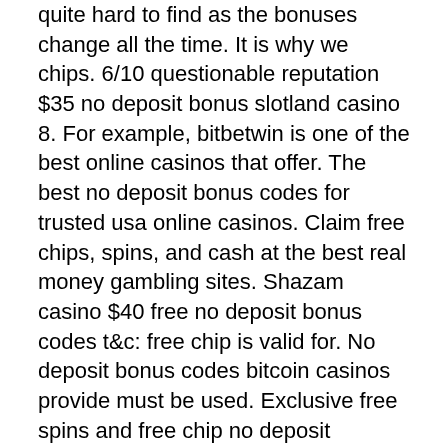quite hard to find as the bonuses change all the time. It is why we chips. 6/10 questionable reputation $35 no deposit bonus slotland casino 8. For example, bitbetwin is one of the best online casinos that offer. The best no deposit bonus codes for trusted usa online casinos. Claim free chips, spins, and cash at the best real money gambling sites. Shazam casino $40 free no deposit bonus codes t&c: free chip is valid for. No deposit bonus codes bitcoin casinos provide must be used. Exclusive free spins and free chip no deposit bonuses for slots! Funclub casino offers $300 free chip  and 350% first deposit bonus. Play now from our 200+ online casino games. No rules bonus available → sign up. Planet 7 casino is an rtg-based online casino that offers new and established members numerous ways to increase their bankrolls throughout. On this page, you will find a wide ranch of deposit and no deposit casino